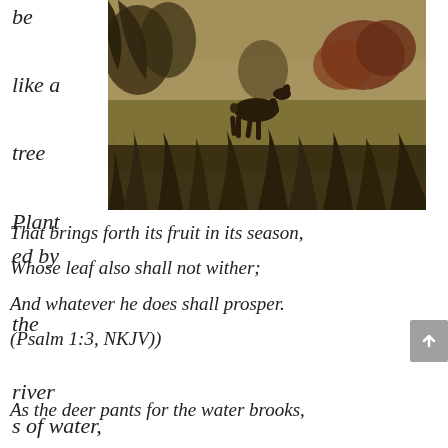be like a tree Planted by the rivers of water,
[Figure (photo): A deer silhouetted against a meadow scene with tall grasses, autumn-colored shrubs, and trees in the background. Sepia/warm toned photograph.]
That brings forth its fruit in its season, Whose leaf also shall not wither; And whatever he does shall prosper. (Psalm 1:3, NKJV))

As the deer pants for the water brooks,